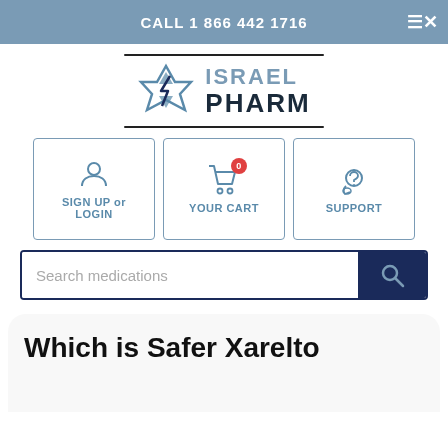CALL 1 866 442 1716
[Figure (logo): IsraelPharm logo with Star of David graphic, text ISRAEL PHARM]
[Figure (infographic): Three navigation buttons: SIGN UP or LOGIN, YOUR CART (with 0 badge), SUPPORT]
[Figure (screenshot): Search medications input bar with search button]
Which is Safer Xarelto